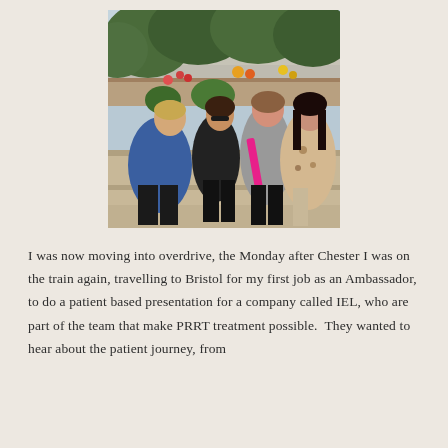[Figure (photo): Four women sitting outdoors on stone steps in a garden setting with trees and flowers in the background. One woman wears a blue jacket, another in black with sunglasses, one in a floral/grey dress with a bright pink sash, and one in a floral top.]
I was now moving into overdrive, the Monday after Chester I was on the train again, travelling to Bristol for my first job as an Ambassador, to do a patient based presentation for a company called IEL, who are part of the team that make PRRT treatment possible. They wanted to hear about the patient journey, from